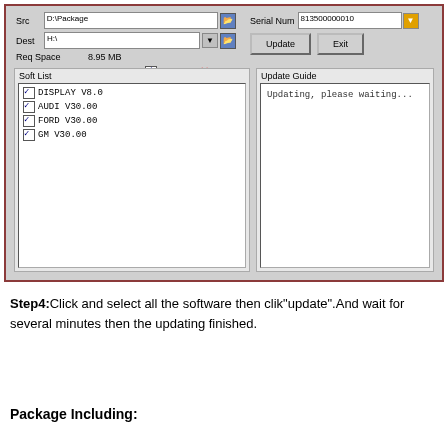[Figure (screenshot): Software update tool screenshot showing source path D:\Package, destination H:\, required space 8.95 MB, remaining space 3703.32 MB, Select All checkbox, a software list with DISPLAY V8.0, AUDI V30.00, FORD V30.00, GM V30.00 checked, an Update Guide panel showing 'Updating, please waiting...', Update and Exit buttons, and serial number 813500000010.]
Step4:Click and select all the software then clik"update".And wait for several minutes then the updating finished.
Package Including: